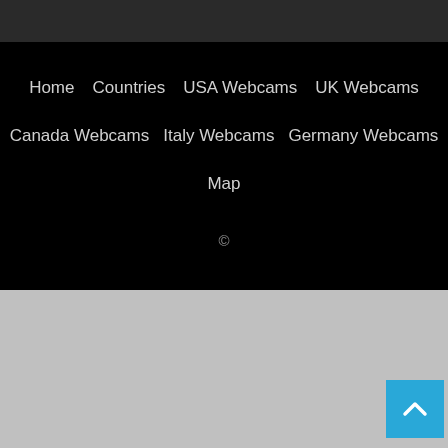Home  Countries  USA Webcams  UK Webcams  Canada Webcams  Italy Webcams  Germany Webcams  Map  ©